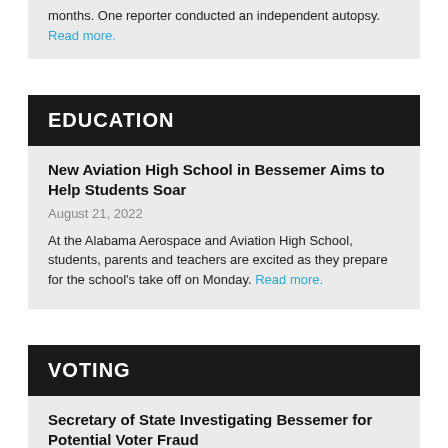months. One reporter conducted an independent autopsy. Read more.
EDUCATION
New Aviation High School in Bessemer Aims to Help Students Soar
August 21, 2022
At the Alabama Aerospace and Aviation High School, students, parents and teachers are excited as they prepare for the school's take off on Monday. Read more.
VOTING
Secretary of State Investigating Bessemer for Potential Voter Fraud
August 18, 2022
While rumors of election fraud or irregularities have lingered in the city